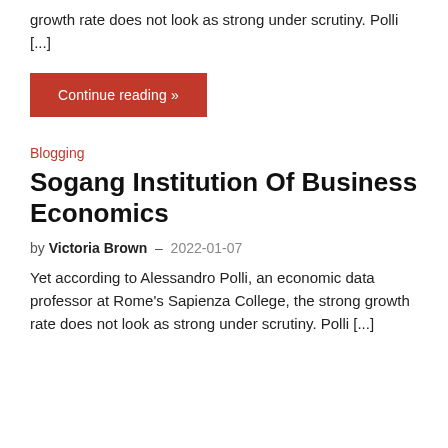growth rate does not look as strong under scrutiny. Polli [...]
Continue reading »
Blogging
Sogang Institution Of Business Economics
by Victoria Brown – 2022-01-07
Yet according to Alessandro Polli, an economic data professor at Rome's Sapienza College, the strong growth rate does not look as strong under scrutiny. Polli [...]